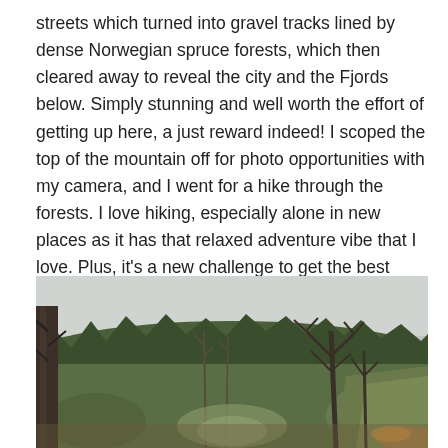streets which turned into gravel tracks lined by dense Norwegian spruce forests, which then cleared away to reveal the city and the Fjords below. Simply stunning and well worth the effort of getting up here, a just reward indeed! I scoped the top of the mountain off for photo opportunities with my camera, and I went for a hike through the forests. I love hiking, especially alone in new places as it has that relaxed adventure vibe that I love. Plus, it's a new challenge to get the best shots out of this stunning scenery in front of me. I came across dense forests and little lakes with tiny waterfalls. I loved it!
[Figure (photo): A forest scene with bare deciduous trees in the foreground on the right side, dense Norwegian spruce forest in the middle background, and a grey overcast sky. The ground shows moss and leaf litter. A tree trunk is visible on the left edge.]